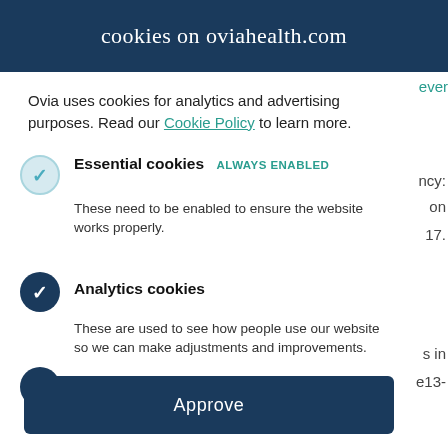cookies on oviahealth.com
ever
Ovia uses cookies for analytics and advertising purposes. Read our Cookie Policy to learn more.
Essential cookies  always enabled
These need to be enabled to ensure the website works properly.
ncy:
on
17.
Analytics cookies
These are used to see how people use our website so we can make adjustments and improvements.
Advertising cookies
s in
e13-
Approve